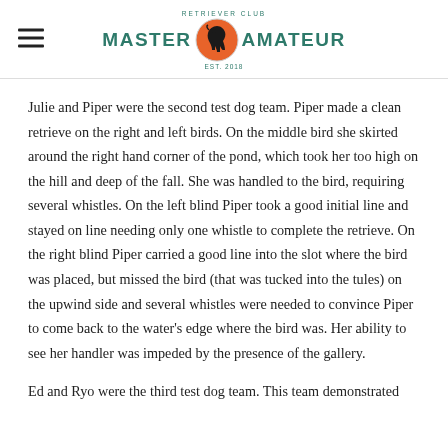Master Amateur (Retriever Club logo)
Julie and Piper were the second test dog team. Piper made a clean retrieve on the right and left birds. On the middle bird she skirted around the right hand corner of the pond, which took her too high on the hill and deep of the fall. She was handled to the bird, requiring several whistles. On the left blind Piper took a good initial line and stayed on line needing only one whistle to complete the retrieve. On the right blind Piper carried a good line into the slot where the bird was placed, but missed the bird (that was tucked into the tules) on the upwind side and several whistles were needed to convince Piper to come back to the water's edge where the bird was. Her ability to see her handler was impeded by the presence of the gallery.
Ed and Ryo were the third test dog team. This team demonstrated